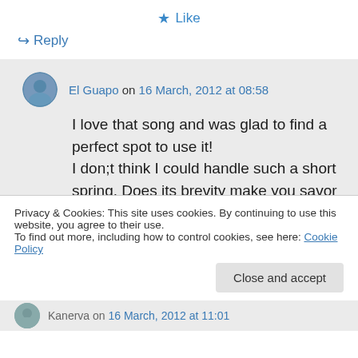★ Like
↪ Reply
El Guapo on 16 March, 2012 at 08:58
I love that song and was glad to find a perfect spot to use it!
I don;t think I could handle such a short spring. Does its brevity make you savor it more, or just regret its quick passing?
Privacy & Cookies: This site uses cookies. By continuing to use this website, you agree to their use.
To find out more, including how to control cookies, see here: Cookie Policy
Close and accept
Kanerva on 16 March, 2012 at 11:01